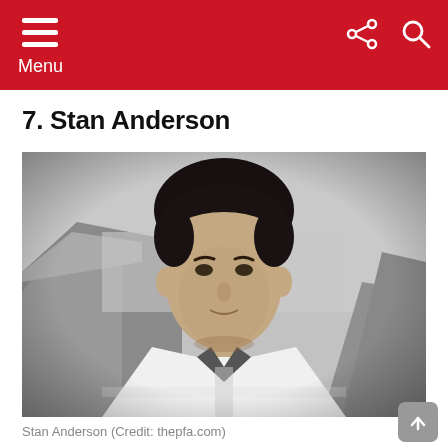Menu
7. Stan Anderson
[Figure (photo): Black and white portrait photograph of Stan Anderson, a footballer, wearing a striped football shirt, with a stadium stand visible in the background.]
Stan Anderson (Credit: thepfa.com)